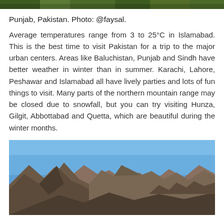[Figure (photo): Partial top strip of a landscape photo, showing vegetation/greenery — cropped at top of page]
Punjab, Pakistan. Photo: @faysal.
Average temperatures range from 3 to 25°C in Islamabad. This is the best time to visit Pakistan for a trip to the major urban centers. Areas like Baluchistan, Punjab and Sindh have better weather in winter than in summer. Karachi, Lahore, Peshawar and Islamabad all have lively parties and lots of fun things to visit. Many parts of the northern mountain range may be closed due to snowfall, but you can try visiting Hunza, Gilgit, Abbottabad and Quetta, which are beautiful during the winter months.
[Figure (photo): Mountain landscape photo showing rugged brown rocky peaks under a clear blue sky, with a valley below]